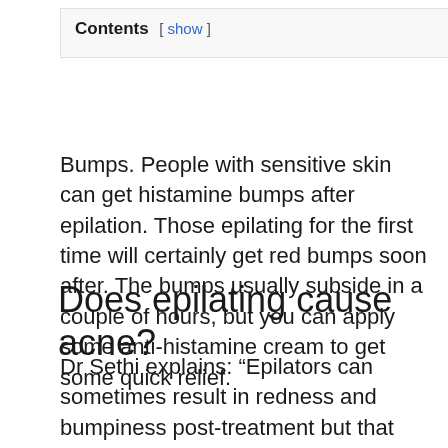| Contents [ show ] |
| --- |
Bumps. People with sensitive skin can get histamine bumps after epilation. Those epilating for the first time will certainly get red bumps soon after. The bumps usually subside in a couple of hours, but you can apply some anti-histamine cream to get some quick relief.
Does epilating cause acne?
Dr Sethi explains: “Epilators can sometimes result in redness and bumpiness post-treatment but that usually settles. But, some people can get acne! So, you should